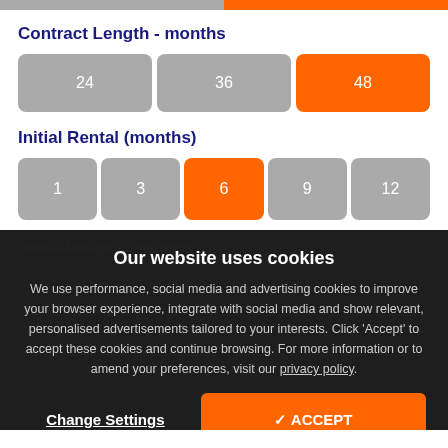Contract Length - months
24
36
48 (selected)
Initial Rental (months)
1
3
6 (selected)
9
12
Annual Mileage - 5,000 miles
£323.72 PERSONALISED FINANCE PER MONTH INC. VAT
Our website uses cookies
We use performance, social media and advertising cookies to improve your browser experience, integrate with social media and show relevant, personalised advertisements tailored to your interests. Click 'Accept' to accept these cookies and continue browsing. For more information or to amend your preferences, visit our privacy policy.
Change Settings
✓ ACCEPT